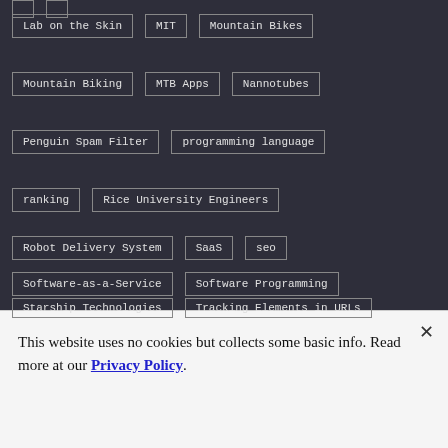Lab on the Skin
MIT
Mountain Bikes
Mountain Biking
MTB Apps
Nannotubes
Penguin Spam Filter
programming language
ranking
Rice University Engineers
Robot Delivery System
SaaS
seo
Software-as-a-Service
Software Programming
Starship Technologies
Tracking Elements in URLs
This website uses no cookies but collects some basic info. Read more at our Privacy Policy.